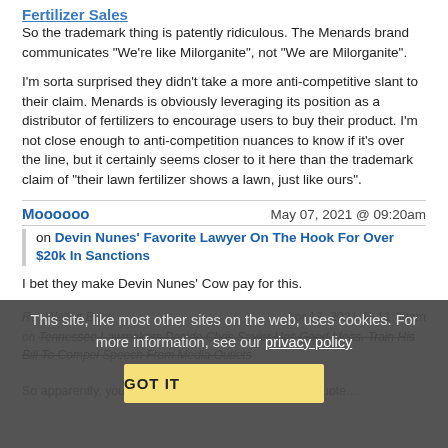Fertilizer Sales
So the trademark thing is patently ridiculous. The Menards brand communicates "We're like Milorganite", not "We are Milorganite".
I'm sorta surprised they didn't take a more anti-competitive slant to their claim. Menards is obviously leveraging its position as a distributor of fertilizers to encourage users to buy their product. I'm not close enough to anti-competition nuances to know if it's over the line, but it certainly seems closer to it here than the trademark claim of "their lawn fertilizer shows a lawn, just like ours".
Moooooo
May 07, 2021 @ 09:20am
on Devin Nunes' Favorite Lawyer On The Hook For Over $20k In Sanctions
I bet they make Devin Nunes' Cow pay for this.
Re: Walk it Back   Apr 13, 2021 @ 11:30am
on Tennessee Lawmakers Decide Chris Sevier Has Good Ideas, Train His Bill To Compel Speech From Media Outlets
So apparently, you need two line breaks after a blockquote....
This site, like most other sites on the web, uses cookies. For more information, see our privacy policy
GOT IT